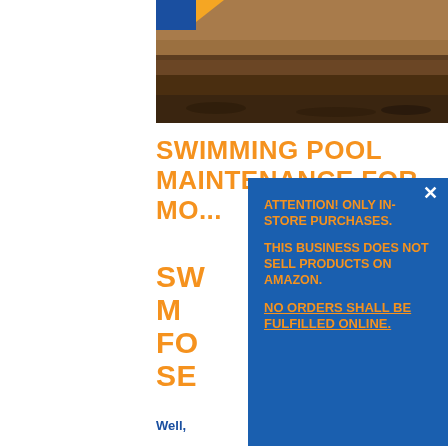[Figure (photo): Panoramic landscape photo of a desert canyon/arid terrain with dust or smoke in the background, with a blue rectangle and orange triangle in the top-left corner of the image.]
SWIMMING POOL MAINTENANCE FOR MO...
SW... M... FO... SE...
Well,
[Figure (screenshot): A blue popup/modal box with an X close button, containing orange bold uppercase text: 'ATTENTION! ONLY IN-STORE PURCHASES.' then 'THIS BUSINESS DOES NOT SELL PRODUCTS ON AMAZON.' then underlined 'NO ORDERS SHALL BE FULFILLED ONLINE.']